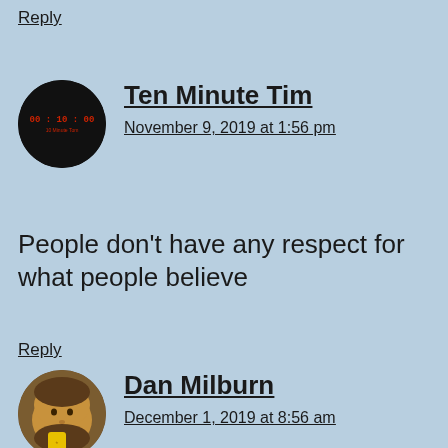Reply
Ten Minute Tim
November 9, 2019 at 1:56 pm
People don't have any respect for what people believe
Reply
Dan Milburn
December 1, 2019 at 8:56 am